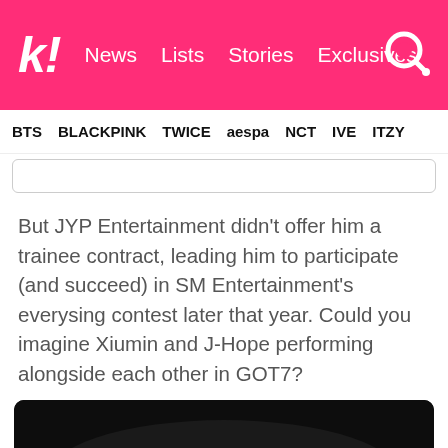k! News Lists Stories Exclusives
BTS BLACKPINK TWICE aespa NCT IVE ITZY
But JYP Entertainment didn't offer him a trainee contract, leading him to participate (and succeed) in SM Entertainment's everysing contest later that year. Could you imagine Xiumin and J-Hope performing alongside each other in GOT7?
[Figure (photo): Group of performers on a dark stage, multiple people posing together in dark clothing]